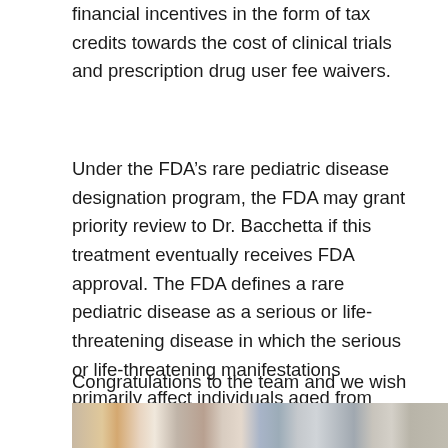financial incentives in the form of tax credits towards the cost of clinical trials and prescription drug user fee waivers.
Under the FDA’s rare pediatric disease designation program, the FDA may grant priority review to Dr. Bacchetta if this treatment eventually receives FDA approval. The FDA defines a rare pediatric disease as a serious or life-threatening disease in which the serious or life-threatening manifestations primarily affect individuals aged from birth to 18 years and affects fewer than 200,000 people in the U.S.
Congratulations to the team and we wish them luck as they begin the trial.
[Figure (photo): Partial view of a photo showing people in what appears to be a laboratory or office setting with bookshelves visible]